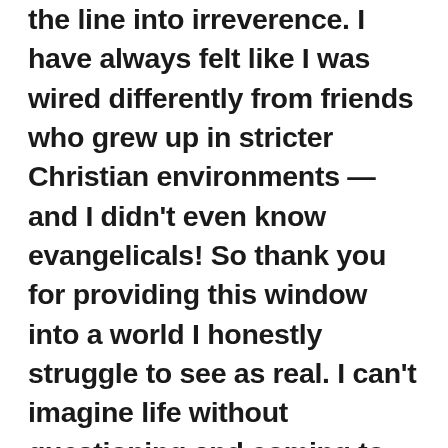the line into irreverence. I have always felt like I was wired differently from friends who grew up in stricter Christian environments — and I didn't even know evangelicals! So thank you for providing this window into a world I honestly struggle to see as real. I can't imagine life without questioning and coming to truths on your own. It's the entire basis of how I became a moral person. That we have a pervasive ideology that preaches against critical thought is very, very disturbing.